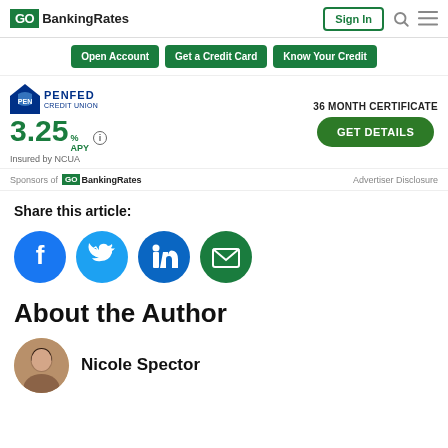GOBankingRates — Sign In
[Figure (screenshot): Navigation bar with GOBankingRates logo, Sign In button, search icon, and menu icon]
Open Account | Get a Credit Card | Know Your Credit
[Figure (infographic): PenFed Credit Union advertisement showing 36 Month Certificate at 3.25% APY, Insured by NCUA, with GET DETAILS button]
Sponsors of GOBankingRates  Advertiser Disclosure
Share this article:
[Figure (infographic): Social share icons: Facebook, Twitter, LinkedIn, Email]
About the Author
Nicole Spector